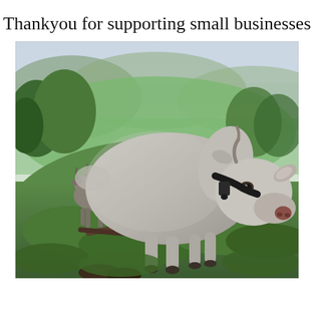Thankyou for supporting small businesses
[Figure (photo): A close-up photo of a white/grey goat looking toward the camera with a curious expression, standing on a hillside with green grass and brush. Another smaller goat stands in the background to the left. The backdrop is a lush green valley landscape with trees and rolling hills under an overcast sky.]